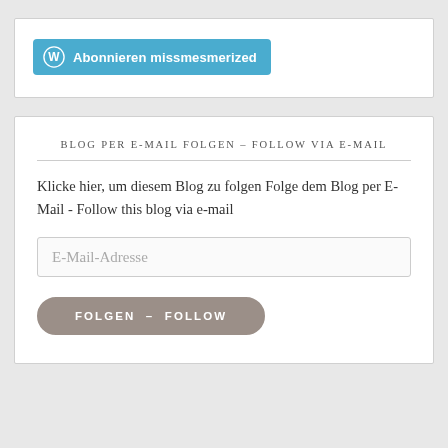[Figure (other): WordPress Abonnieren (Subscribe) button — blue rounded rectangle with WordPress logo icon and text 'Abonnieren missmesmerized']
BLOG PER E-MAIL FOLGEN – FOLLOW VIA E-MAIL
Klicke hier, um diesem Blog zu folgen Folge dem Blog per E-Mail - Follow this blog via e-mail
E-Mail-Adresse
FOLGEN – FOLLOW